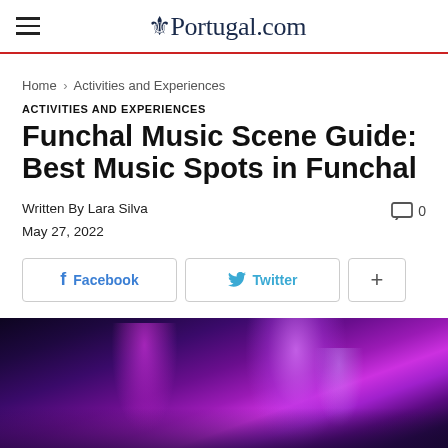Portugal.com
Home › Activities and Experiences
ACTIVITIES AND EXPERIENCES
Funchal Music Scene Guide: Best Music Spots in Funchal
Written By Lara Silva
May 27, 2022
[Figure (photo): Concert stage with purple and pink stage lighting, atmospheric smoke effects]
0